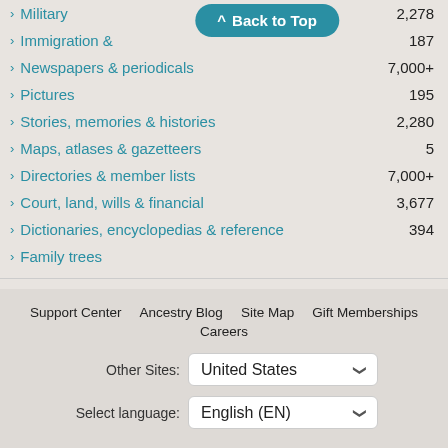Military — 2,278
Immigration & — 187
Newspapers & periodicals — 7,000+
Pictures — 195
Stories, memories & histories — 2,280
Maps, atlases & gazetteers — 5
Directories & member lists — 7,000+
Court, land, wills & financial — 3,677
Dictionaries, encyclopedias & reference — 394
Family trees
Support Center  Ancestry Blog  Site Map  Gift Memberships  Careers